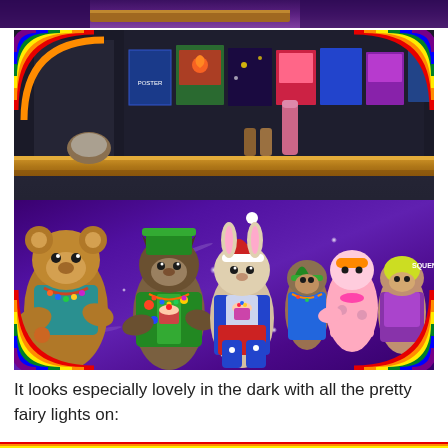[Figure (photo): A colorful photo of stuffed animal toys/teddy bears dressed in colorful outfits sitting on a purple sparkly tablecloth, with a wooden shelf behind them displaying children's book covers and small figurines. Rainbow decorations appear in the corners of the image frame. A partial image appears at the very top of the page.]
It looks especially lovely in the dark with all the pretty fairy lights on: